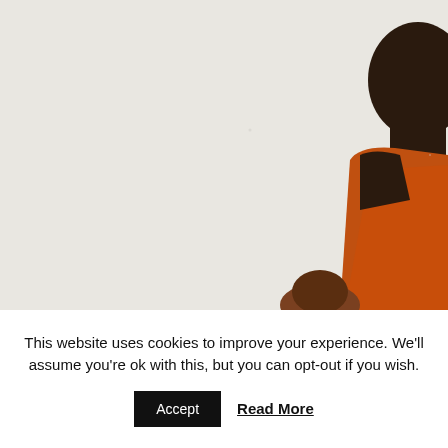[Figure (photo): Partial view of a person wearing an orange shirt, dark-skinned, with a light gray/beige background. The figure is cut off at the right edge and bottom, suggesting cropping of a larger photo. Another partial figure (possibly a child or second person) is visible at the lower center.]
This website uses cookies to improve your experience. We'll assume you're ok with this, but you can opt-out if you wish.
Accept   Read More